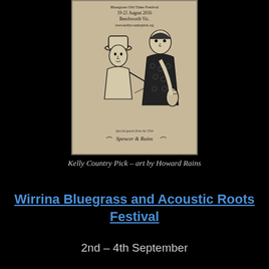[Figure (illustration): Pen and ink illustration poster for Kelly Country Pick Bluegrass Old Time Festival, 19-21 August 2016, Beechworth Vic., www.kellycountrypick.org. Shows two musicians with fiddles, with text 'Special guests from the USA Spencer & Rains'. Art by Howard Rains.]
Kelly Country Pick – art by Howard Rains
Wirrina Bluegrass and Acoustic Roots Festival
2nd – 4th September